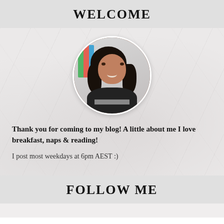WELCOME
[Figure (photo): Circular profile photo of a young woman with long dark hair, smiling, in front of colorful bookshelves]
Thank you for coming to my blog! A little about me I love breakfast, naps & reading!
I post most weekdays at 6pm AEST :)
FOLLOW ME